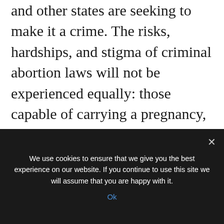and other states are seeking to make it a crime. The risks, hardships, and stigma of criminal abortion laws will not be experienced equally: those capable of carrying a pregnancy, those who cannot afford to travel, and those who do not have the social connections to navigate the new abortion landscape will suffer the most.
We use cookies to ensure that we give you the best experience on our website. If you continue to use this site we will assume that you are happy with it.
Ok